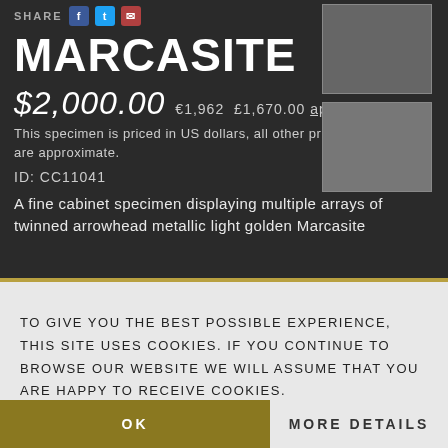SHARE
MARCASITE
$2,000.00  €1,962  £1,670.00 approx.
This specimen is priced in US dollars, all other prices are approximate.
ID: CC11041
A fine cabinet specimen displaying multiple arrays of twinned arrowhead metallic light golden Marcasite
[Figure (photo): Photo of Marcasite mineral specimen thumbnail 1]
[Figure (photo): Photo of Marcasite mineral specimen thumbnail 2]
TO GIVE YOU THE BEST POSSIBLE EXPERIENCE, THIS SITE USES COOKIES. IF YOU CONTINUE TO BROWSE OUR WEBSITE WE WILL ASSUME THAT YOU ARE HAPPY TO RECEIVE COOKIES.
OK
MORE DETAILS